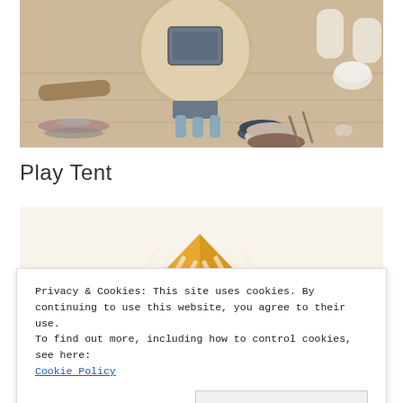[Figure (photo): Wooden toy kitchen/clock on legs with dining accessories, bowls, plates and utensils on a wooden floor]
Play Tent
[Figure (photo): Yellow and white striped play tent on a white background]
Privacy & Cookies: This site uses cookies. By continuing to use this website, you agree to their use.
To find out more, including how to control cookies, see here:
Cookie Policy
Close and accept